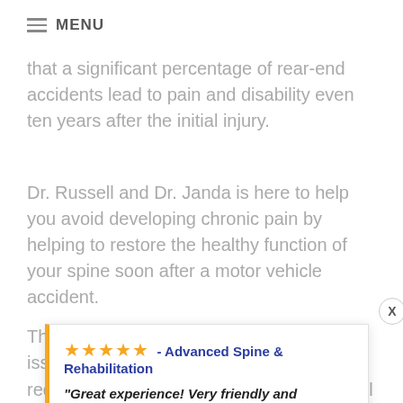MENU
that a significant percentage of rear-end accidents lead to pain and disability even ten years after the initial injury.
Dr. Russell and Dr. Janda is here to help you avoid developing chronic pain by helping to restore the healthy function of your spine soon after a motor vehicle accident.
The most frequent causes of chronic issues are re... the d... li... d... reducing inflammation and restoring normal
★★★★★ - Advanced Spine & Rehabilitation
"Great experience! Very friendly and professional"
— Ryan Banda, in the last 2 weeks
⚡ by Review Wave